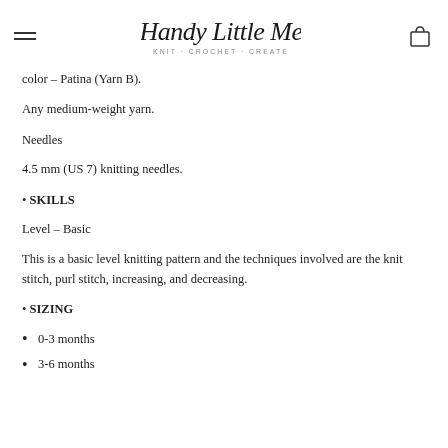Handy Little Me — KNIT · CROCHET · CREATE
color – Patina (Yarn B).
Any medium-weight yarn.
Needles
4.5 mm (US 7) knitting needles.
• SKILLS
Level – Basic
This is a basic level knitting pattern and the techniques involved are the knit stitch, purl stitch, increasing, and decreasing.
• SIZING
0-3 months
3-6 months